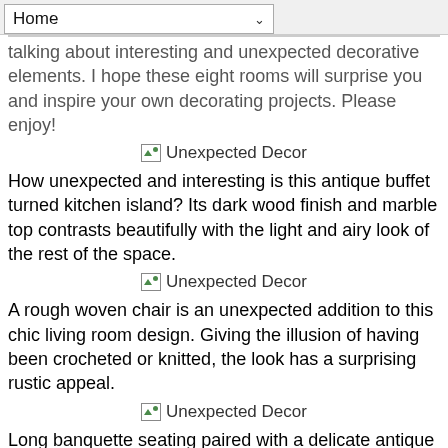Home
talking about interesting and unexpected decorative elements. I hope these eight rooms will surprise you and inspire your own decorating projects. Please enjoy!
[Figure (illustration): Broken image placeholder with alt text 'Unexpected Decor']
How unexpected and interesting is this antique buffet turned kitchen island? Its dark wood finish and marble top contrasts beautifully with the light and airy look of the rest of the space.
[Figure (illustration): Broken image placeholder with alt text 'Unexpected Decor']
A rough woven chair is an unexpected addition to this chic living room design. Giving the illusion of having been crocheted or knitted, the look has a surprising rustic appeal.
[Figure (illustration): Broken image placeholder with alt text 'Unexpected Decor']
Long banquette seating paired with a delicate antique French table works well with formal architecture in an eat-in kitchen.
[Figure (illustration): Broken image placeholder with alt text 'Unexpected Decor']
This pair of high-back chairs brings excitement to a traditional space. Unexpected shape, upholstery